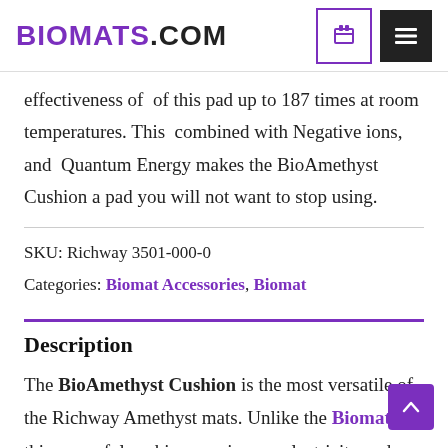BIOMATS.COM
effectiveness of  of this pad up to 187 times at room temperatures. This  combined with Negative ions, and  Quantum Energy makes the BioAmethyst Cushion a pad you will not want to stop using.
SKU: Richway 3501-000-0
Categories: Biomat Accessories, Biomat
Description
The BioAmethyst Cushion is the most versatile of the Richway Amethyst mats. Unlike the Biomats this powerful cushion requires no electricity and